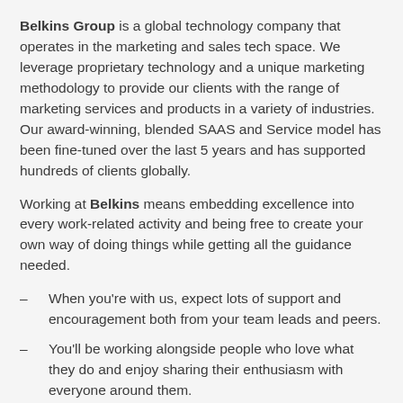Belkins Group is a global technology company that operates in the marketing and sales tech space. We leverage proprietary technology and a unique marketing methodology to provide our clients with the range of marketing services and products in a variety of industries. Our award-winning, blended SAAS and Service model has been fine-tuned over the last 5 years and has supported hundreds of clients globally.
Working at Belkins means embedding excellence into every work-related activity and being free to create your own way of doing things while getting all the guidance needed.
When you're with us, expect lots of support and encouragement both from your team leads and peers.
You'll be working alongside people who love what they do and enjoy sharing their enthusiasm with everyone around them.
You'll also have limitless opportunities to explore – whether that means building up new areas of expertise or taking your career in a different direction!